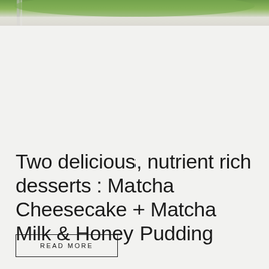[Figure (photo): Partial photo of a matcha cheesecake slice with a fork visible, cropped at top of page]
Two delicious, nutrient rich desserts : Matcha Cheesecake + Matcha Milk & Honey Pudding
READ MORE